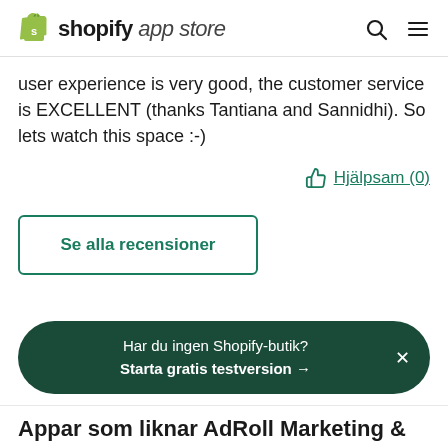shopify app store
user experience is very good, the customer service is EXCELLENT (thanks Tantiana and Sannidhi). So lets watch this space :-)
Hjälpsam (0)
Se alla recensioner
Har du ingen Shopify-butik? Starta gratis testversion →
Appar som liknar AdRoll Marketing &